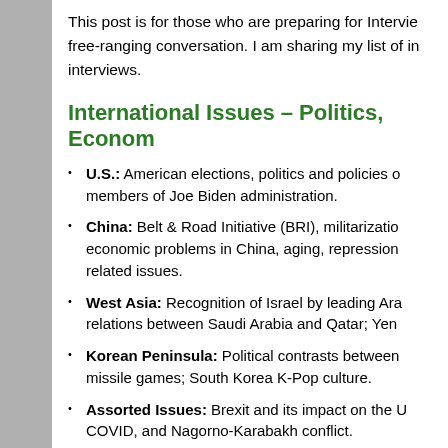This post is for those who are preparing for Interviews with free-ranging conversation. I am sharing my list of important interviews.
International Issues – Politics, Economics…
U.S.: American elections, politics and policies of members of Joe Biden administration.
China: Belt & Road Initiative (BRI), militarization, economic problems in China, aging, repression, related issues.
West Asia: Recognition of Israel by leading Arab relations between Saudi Arabia and Qatar; Yemen…
Korean Peninsula: Political contrasts between missile games; South Korea K-Pop culture.
Assorted Issues: Brexit and its impact on the U… COVID, and Nagorno-Karabakh conflict.